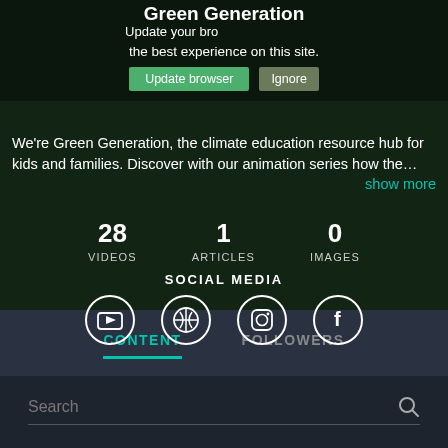Green Generation
Update your browser for security, speed and the best experience on this site.
We're Green Generation, the climate education resource hub for kids and families. Discover with our animation series how the…
show more
28 VIDEOS   1 ARTICLES   0 IMAGES
SOCIAL MEDIA
[Figure (other): Social media icons: YouTube, globe/web, Instagram, Facebook — each in a white circle outline]
CONTENT   FOLLOWERS
Search